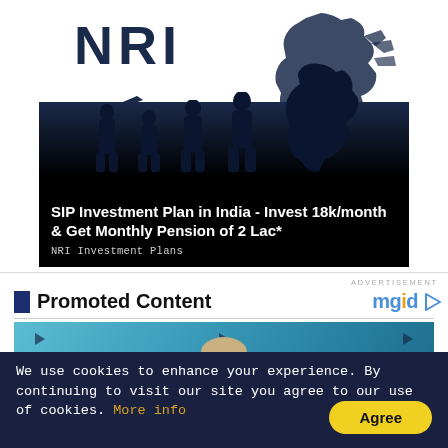[Figure (illustration): NRI investment advertisement banner showing silhouettes of people walking toward India map outline with an airplane, dark blue and black gradient background with white NRI text]
SIP Investment Plan in India - Invest 18k/month & Get Monthly Pension of 2 Lac*
NRI Investment Plans
ADVERTISEMENT
Promoted Content
[Figure (photo): Woman with blonde hair in a blue-toned setting; Ashley furniture brand logo partially visible with 'sleep c...' text overlay]
We use cookies to enhance your experience. By continuing to visit our site you agree to our use of cookies. More info